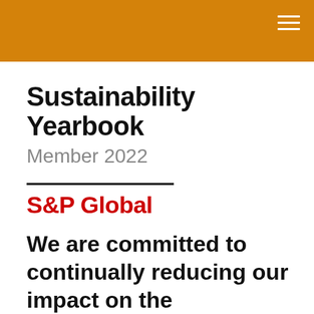Sustainability Yearbook
Member 2022
[Figure (logo): S&P Global logo in red bold text with a black horizontal rule above it]
We are committed to continually reducing our impact on the environment, while continuing to grow our business.